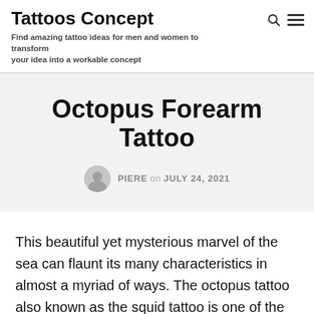Tattoos Concept
Find amazing tattoo ideas for men and women to transform your idea into a workable concept
Octopus Forearm Tattoo
PIERE on JULY 24, 2021
This beautiful yet mysterious marvel of the sea can flaunt its many characteristics in almost a myriad of ways. The octopus tattoo also known as the squid tattoo is one of the best tattoo